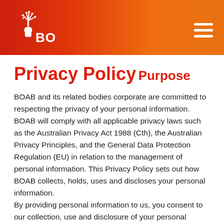BOAB
Privacy Policy
Purpose
BOAB and its related bodies corporate are committed to respecting the privacy of your personal information. BOAB will comply with all applicable privacy laws such as the Australian Privacy Act 1988 (Cth), the Australian Privacy Principles, and the General Data Protection Regulation (EU) in relation to the management of personal information. This Privacy Policy sets out how BOAB collects, holds, uses and discloses your personal information.
By providing personal information to us, you consent to our collection, use and disclosure of your personal information in